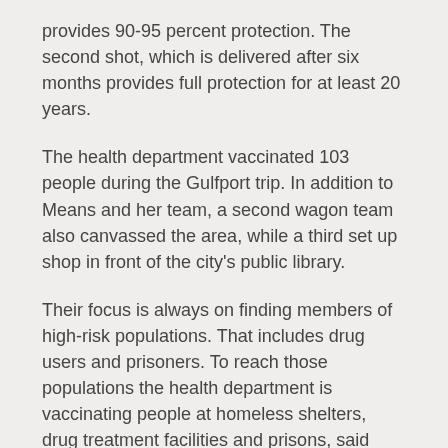provides 90-95 percent protection. The second shot, which is delivered after six months provides full protection for at least 20 years.
The health department vaccinated 103 people during the Gulfport trip. In addition to Means and her team, a second wagon team also canvassed the area, while a third set up shop in front of the city's public library.
Their focus is always on finding members of high-risk populations. That includes drug users and prisoners. To reach those populations the health department is vaccinating people at homeless shelters, drug treatment facilities and prisons, said Keven Baker, an epidemiologist with the health department in Pinellas.
Every county in Florida is offering free vaccines to people who are high risk, Baker said.